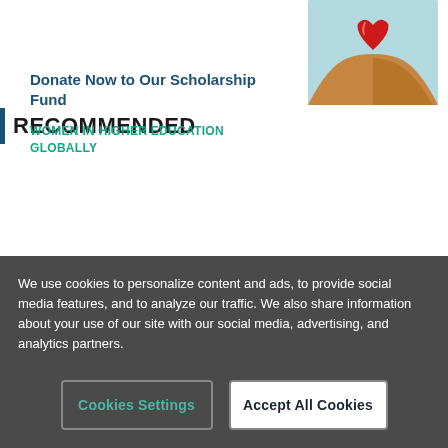[Figure (logo): Seventh-day Adventist Church logo — teal flame/book/cross emblem]
RECOMMENDED
[Figure (photo): Hands holding a red heart shape]
Donate Now to Our Scholarship Fund
WOMEN IN HIGHER EDUCATION GLOBALLY
We use cookies to personalize content and ads, to provide social media features, and to analyze our traffic. We also share information about your use of our site with our social media, advertising, and analytics partners.
Cookies Settings
Accept All Cookies